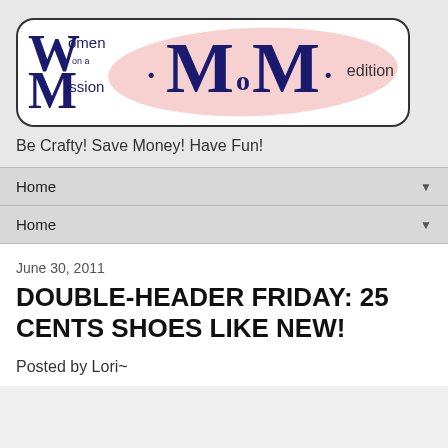[Figure (logo): Women on a Mission MoM edition blog logo — dark navy serif W and M letters with 'omen', 'on a', 'ission' text, large MoM center text, pink oval watercolor background, rounded rectangle border]
Be Crafty! Save Money! Have Fun!
Home
Home
June 30, 2011
DOUBLE-HEADER FRIDAY: 25 CENTS SHOES LIKE NEW!
Posted by Lori~